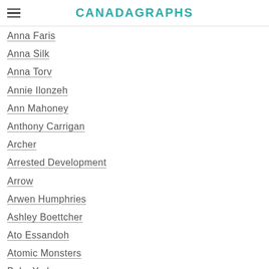CANADAGRAPHS
Anna Faris
Anna Silk
Anna Torv
Annie Ilonzeh
Ann Mahoney
Anthony Carrigan
Archer
Arrested Development
Arrow
Arwen Humphries
Ashley Boettcher
Ato Essandoh
Atomic Monsters
Baby Yoda
Bailee Madison